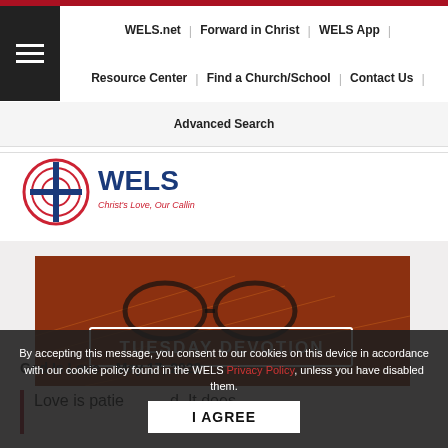WELS.net | Forward in Christ | WELS App | Resource Center | Find a Church/School | Contact Us | Advanced Search
[Figure (logo): WELS logo with cross and circular design, text 'WELS Christ's Love, Our Calling.']
[Figure (photo): Orange-tinted photo of an open Bible with glasses, with overlay text 'TUESDAY DEVOTION']
God Is Love – May 17, 2022
Love is patient … d. It does
By accepting this message, you consent to our cookies on this device in accordance with our cookie policy found in the WELS Privacy Policy, unless you have disabled them.
I AGREE